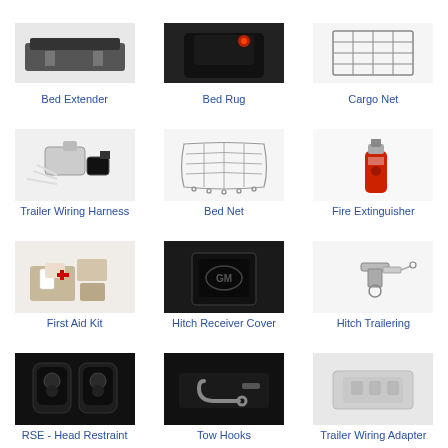[Figure (photo): Bed Extender product photo]
Bed Extender
[Figure (photo): Bed Rug product photo with red light]
Bed Rug
[Figure (photo): Cargo Net line drawing]
Cargo Net
[Figure (photo): Trailer Wiring Harness product photo]
Trailer Wiring Harness
[Figure (photo): Bed Net line drawing]
Bed Net
[Figure (photo): Fire Extinguisher product photo]
Fire Extinguisher
[Figure (photo): First Aid Kit product photo]
First Aid Kit
[Figure (photo): Hitch Receiver Cover product photo - black GM branded]
Hitch Receiver Cover
[Figure (photo): Hitch Trailering small parts photo]
Hitch Trailering
[Figure (photo): RSE Head Restraint product photo on dark background]
RSE - Head Restraint
[Figure (photo): Tow Hooks product photo]
Tow Hooks
[Figure (photo): Trailer Wiring Adapter product photo on light background]
Trailer Wiring Adapter